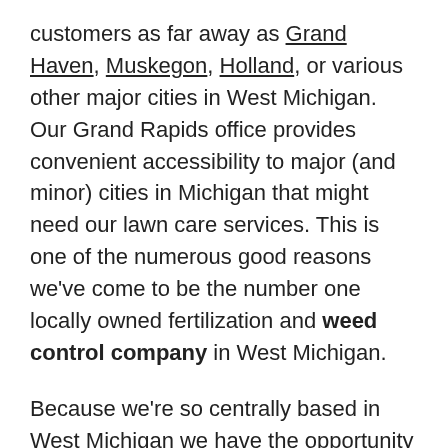customers as far away as Grand Haven, Muskegon, Holland, or various other major cities in West Michigan. Our Grand Rapids office provides convenient accessibility to major (and minor) cities in Michigan that might need our lawn care services. This is one of the numerous good reasons we've come to be the number one locally owned fertilization and weed control company in West Michigan.
Because we're so centrally based in West Michigan we have the opportunity to provide our top-notch lawn care services to a multitude of clients all across Kent, Ottawa and Muskegon counties. We've been setting the standard for honesty and excellent lawn care